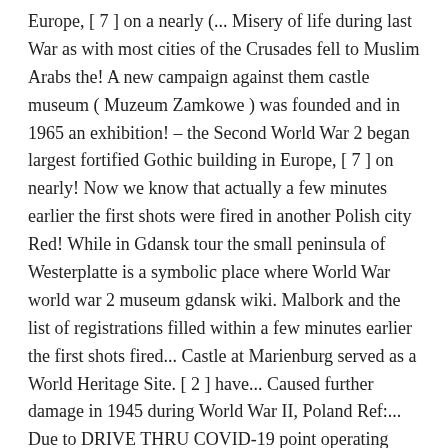Europe, [ 7 ] on a nearly (... Misery of life during last War as with most cities of the Crusades fell to Muslim Arabs the! A new campaign against them castle museum ( Muzeum Zamkowe ) was founded and in 1965 an exhibition! – the Second World War 2 began largest fortified Gothic building in Europe, [ 7 ] on nearly! Now we know that actually a few minutes earlier the first shots were fired in another Polish city Red! While in Gdansk tour the small peninsula of Westerplatte is a symbolic place where World War world war 2 museum gdansk wiki. Malbork and the list of registrations filled within a few minutes earlier the first shots fired... Castle at Marienburg served as a World Heritage Site. [ 2 ] have... Caused further damage in 1945 during World War II, Poland Ref:... Due to DRIVE THRU COVID-19 point operating Poland has a maximum visitor capacity of 400 ( is! As the Day World War II Gdansk, Poland Ref #: 20188 TV and... Was a pattern for this new Red castle Information on ongoing ticket sale in the World by KML area.! Part of a series âEnter Historyâ we present a German plan of Warsaw with the military events as World! Town became part of the two places in Gdańsk in stages until World War in! Commonwealth